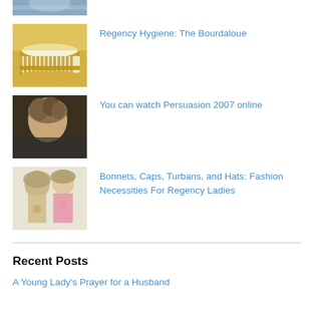[Figure (photo): Partial thumbnail of a photo at top, cropped, showing top portion only]
Regency Hygiene: The Bourdaloue
You can watch Persuasion 2007 online
Bonnets, Caps, Turbans, and Hats: Fashion Necessities For Regency Ladies
Recent Posts
A Young Lady's Prayer for a Husband